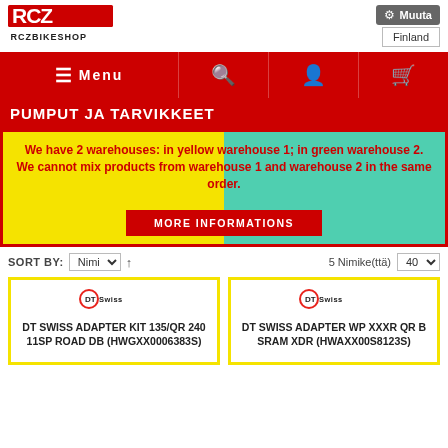[Figure (logo): RCZ RCZBIKESHOP logo in red and black]
[Figure (screenshot): Muuta settings button with Finland country selector]
[Figure (screenshot): Navigation bar with Menu, search, account, and cart icons]
PUMPUT JA TARVIKKEET
We have 2 warehouses: in yellow warehouse 1; in green warehouse 2.
We cannot mix products from warehouse 1 and warehouse 2 in the same order.
MORE INFORMATIONS
SORT BY: Nimi  ↑  5 Nimike(ttä)  40
DT SWISS ADAPTER KIT 135/QR 240 11SP ROAD DB (HWGXX0006383S)
DT SWISS ADAPTER WP XXXR QR B SRAM XDR (HWAXX00S8123S)